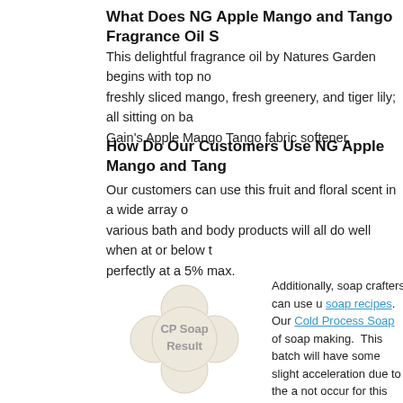What Does NG Apple Mango and Tango Fragrance Oil S
This delightful fragrance oil by Natures Garden begins with top no freshly sliced mango, fresh greenery, and tiger lily; all sitting on ba Gain’s Apple Mango Tango fabric softener.
How Do Our Customers Use NG Apple Mango and Tang
Our customers can use this fruit and floral scent in a wide array o various bath and body products will all do well when at or below t perfectly at a 5% max.
[Figure (illustration): A flower-shaped off-white soap bar labeled 'CP Soap Result' in gray text]
Additionally, soap crafters can use u soap recipes. Our Cold Process Soap of soap making. This batch will have some slight acceleration due to the a not occur for this scent. If you wish t colorant and orange soap dye in the body safe.